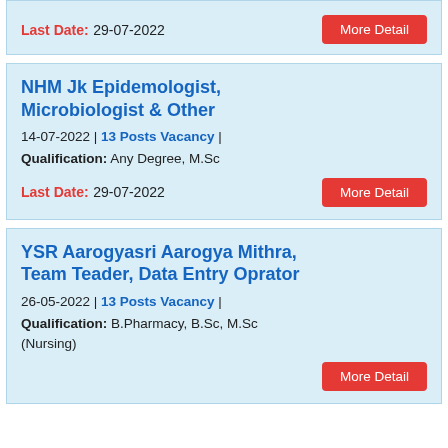Last Date: 29-07-2022
NHM Jk Epidemologist, Microbiologist & Other
14-07-2022 | 13 Posts Vacancy |
Qualification: Any Degree, M.Sc
Last Date: 29-07-2022
YSR Aarogyasri Aarogya Mithra, Team Teader, Data Entry Oprator
26-05-2022 | 13 Posts Vacancy |
Qualification: B.Pharmacy, B.Sc, M.Sc (Nursing)